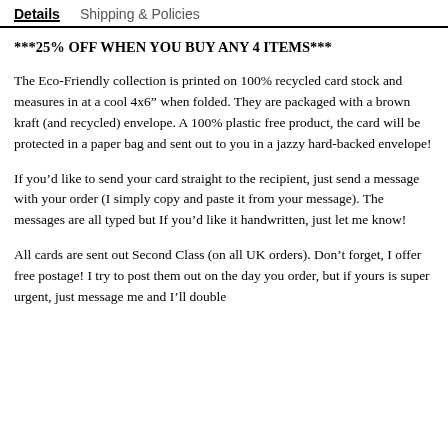Details   Shipping & Policies
***25% OFF WHEN YOU BUY ANY 4 ITEMS***
The Eco-Friendly collection is printed on 100% recycled card stock and measures in at a cool 4x6” when folded. They are packaged with a brown kraft (and recycled) envelope. A 100% plastic free product, the card will be protected in a paper bag and sent out to you in a jazzy hard-backed envelope!
If you’d like to send your card straight to the recipient, just send a message with your order (I simply copy and paste it from your message). The messages are all typed but If you’d like it handwritten, just let me know!
All cards are sent out Second Class (on all UK orders). Don’t forget, I offer free postage! I try to post them out on the day you order, but if yours is super urgent, just message me and I’ll double